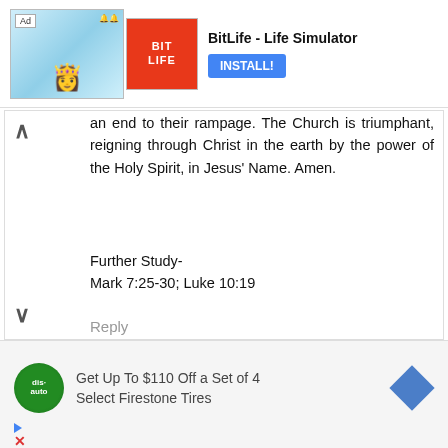[Figure (screenshot): Ad banner for BitLife - Life Simulator app with Install button]
an end to their rampage. The Church is triumphant, reigning through Christ in the earth by the power of the Holy Spirit, in Jesus' Name. Amen.
Further Study-
Mark 7:25-30; Luke 10:19
Reply
▾ Replies
Anonymous 9 January 2022 at 09:31
Amen
[Figure (screenshot): Ad for Get Up To $110 Off a Set of 4 Select Firestone Tires]